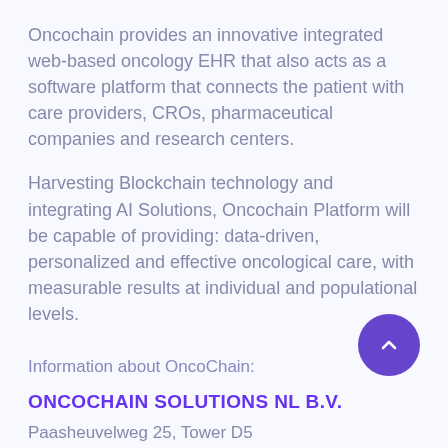Oncochain provides an innovative integrated web-based oncology EHR that also acts as a software platform that connects the patient with care providers, CROs, pharmaceutical companies and research centers.
Harvesting Blockchain technology and integrating AI Solutions, Oncochain Platform will be capable of providing: data-driven, personalized and effective oncological care, with measurable results at individual and populational levels.
Information about OncoChain:
ONCOCHAIN SOLUTIONS NL B.V.
Paasheuvelweg 25, Tower D5